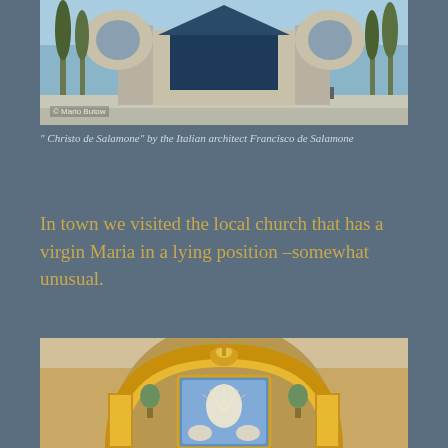[Figure (photo): Exterior of a modernist concrete church building 'Christo de Salamone' by architect Francisco de Salamone, with cypress trees and blue glass facade, photographed from the street.]
" Christo de Salamone" by the Italian architect Francisco de Salamone
In town we visited the local church that has a virgin Maria in a lying position –somewhat unusual.
[Figure (photo): Close-up of an ornate gilded baroque-style altar or retablo with gold decorations, an arch, and a central blue painted panel depicting the Virgin Mary with rays of light and cherubs.]